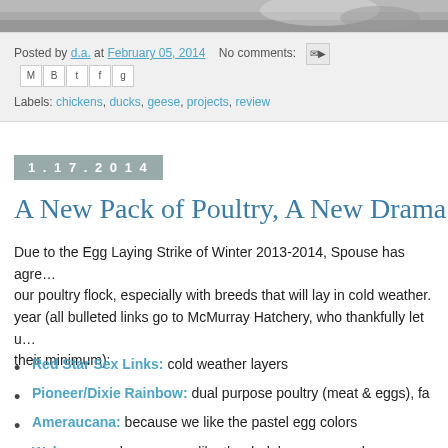[Figure (photo): Partial photo strip visible at top of page, showing animal fur/feathers in grayscale]
Posted by d.a. at February 05, 2014   No comments:
Labels: chickens, ducks, geese, projects, review
1.17.2014
A New Pack of Poultry, A New Drama of D...
Due to the Egg Laying Strike of Winter 2013-2014, Spouse has agreed to expand our poultry flock, especially with breeds that will lay in cold weather. So this year (all bulleted links go to McMurray Hatchery, who thankfully let us split their minimum):
Red Star Sex Links: cold weather layers
Pioneer/Dixie Rainbow: dual purpose poultry (meat & eggs), fa...
Ameraucana: because we like the pastel egg colors
Welsummer: because we like the dark brown egg color